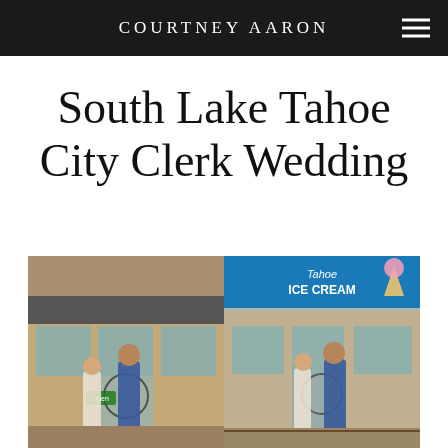COURTNEY AARON
South Lake Tahoe City Clerk Wedding
[Figure (photo): Two side-by-side photos of a couple (man in blue blazer, woman in white dress) in front of an ice cream shop storefront. Left photo shows them walking and laughing together; right photo shows them kissing/embracing in front of the Tahoe Ice Cream sign.]